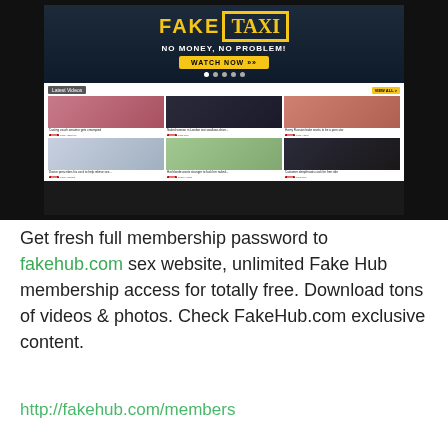[Figure (screenshot): Screenshot of FakeTaxi adult website showing banner with 'FAKE TAXI NO MONEY, NO PROBLEM! WATCH NOW' and a grid of 6 video thumbnails under 'Latest Videos' section]
Get fresh full membership password to fakehub.com sex website, unlimited Fake Hub membership access for totally free. Download tons of videos & photos. Check FakeHub.com exclusive content.
http://fakehub.com/members